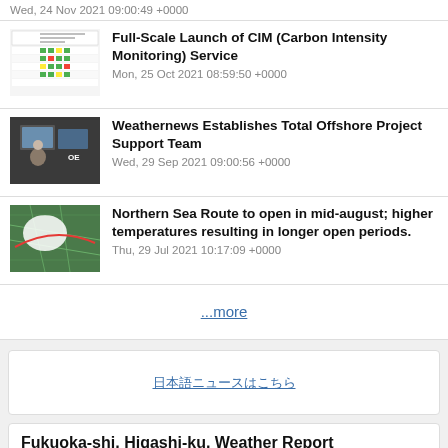Wed, 24 Nov 2021 09:00:49 +0000
[Figure (screenshot): Thumbnail showing CIM Carbon Intensity Monitoring dashboard with colored cells]
Full-Scale Launch of CIM (Carbon Intensity Monitoring) Service
Mon, 25 Oct 2021 08:59:50 +0000
[Figure (photo): Photo of person working at computer screens in dark office]
Weathernews Establishes Total Offshore Project Support Team
Wed, 29 Sep 2021 09:00:56 +0000
[Figure (screenshot): Screenshot of Arctic/Northern Sea Route weather map with ice coverage overlay]
Northern Sea Route to open in mid-august; higher temperatures resulting in longer open periods.
Thu, 29 Jul 2021 10:17:09 +0000
...more
日本語ニュースはこちら
Fukuoka-shi, Higashi-ku, Weather Report